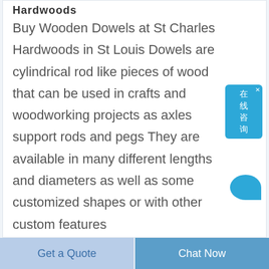Hardwoods
Buy Wooden Dowels at St Charles Hardwoods in St Louis Dowels are cylindrical rod like pieces of wood that can be used in crafts and woodworking projects as axles support rods and pegs They are available in many different lengths and diameters as well as some customized shapes or with other custom features
[Figure (other): Online chat widget button with Chinese text 在线咨询 (online consultation) and a close X button, styled in blue]
Get a Quote    Chat Now